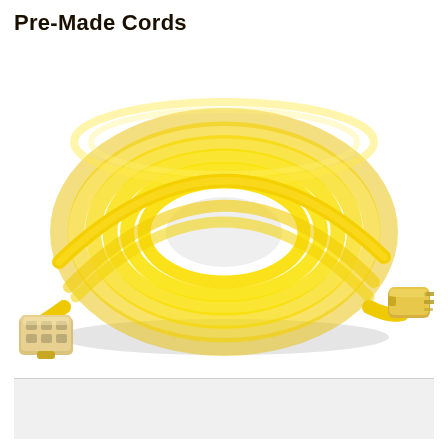Pre-Made Cords
[Figure (photo): Yellow extension cord coiled in a large loop, with a triple-outlet female end on the left and a standard male plug on the right. The cord is bright yellow with clear/amber plastic connectors on both ends.]